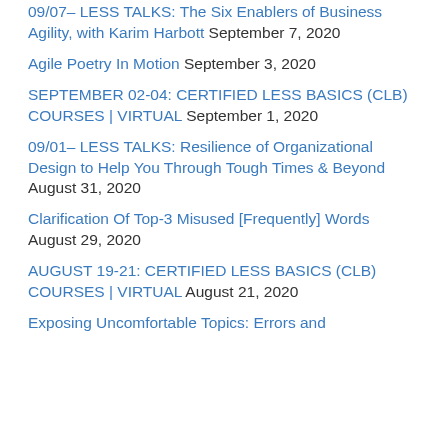09/07– LESS TALKS: The Six Enablers of Business Agility, with Karim Harbott September 7, 2020
Agile Poetry In Motion September 3, 2020
SEPTEMBER 02-04: CERTIFIED LESS BASICS (CLB) COURSES | VIRTUAL September 1, 2020
09/01– LESS TALKS: Resilience of Organizational Design to Help You Through Tough Times & Beyond August 31, 2020
Clarification Of Top-3 Misused [Frequently] Words August 29, 2020
AUGUST 19-21: CERTIFIED LESS BASICS (CLB) COURSES | VIRTUAL August 21, 2020
Exposing Uncomfortable Topics: Errors and